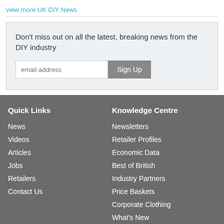view more UK DIY News
Don't miss out on all the latest, breaking news from the DIY industry
Quick Links
News
Videos
Articles
Jobs
Retailers
Contact Us
Knowledge Centre
Newsletters
Retailer Profiles
Economic Data
Best of British
Industry Partners
Price Baskets
Corporate Clothing
What's New
Industry Events